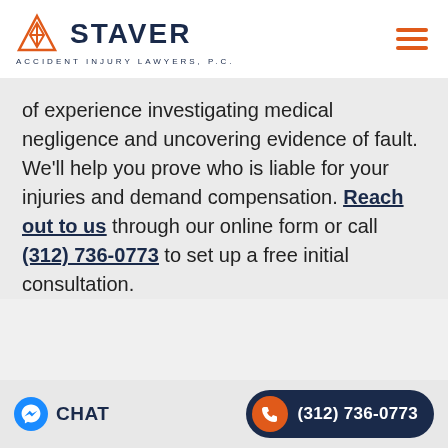[Figure (logo): Staver Accident Injury Lawyers, P.C. logo with orange triangle graphic and dark navy text]
of experience investigating medical negligence and uncovering evidence of fault. We'll help you prove who is liable for your injuries and demand compensation. Reach out to us through our online form or call (312) 736-0773 to set up a free initial consultation.
CHAT
(312) 736-0773